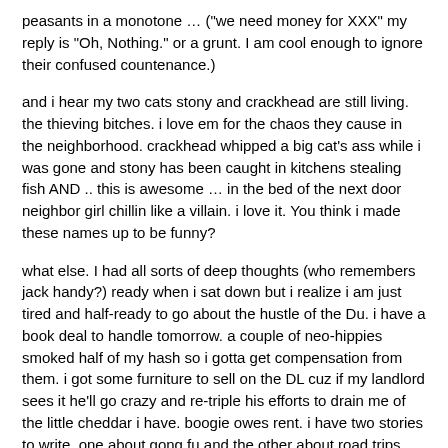peasants in a monotone … ("we need money for XXX" my reply is "Oh, Nothing." or a grunt. I am cool enough to ignore their confused countenance.)
and i hear my two cats stony and crackhead are still living. the thieving bitches. i love em for the chaos they cause in the neighborhood. crackhead whipped a big cat's ass while i was gone and stony has been caught in kitchens stealing fish AND .. this is awesome … in the bed of the next door neighbor girl chillin like a villain. i love it. You think i made these names up to be funny?
what else. I had all sorts of deep thoughts (who remembers jack handy?) ready when i sat down but i realize i am just tired and half-ready to go about the hustle of the Du. i have a book deal to handle tomorrow. a couple of neo-hippies smoked half of my hash so i gotta get compensation from them. i got some furniture to sell on the DL cuz if my landlord sees it he'll go crazy and re-triple his efforts to drain me of the little cheddar i have. boogie owes rent. i have two stories to write. one about gong fu and the other about road trips with my family when i was a kid. gotta find other ways to get paid before may so i can return to the US with a pocket full of something. Lonely Planet has yet to tell me if i got the job or not. all sorts of hustles run through my mind. i was invigorated the other day when i learned that one of the hustl … i mean book deals … i pitched finally got bit